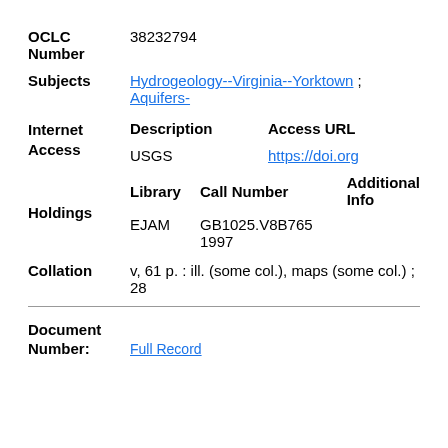OCLC Number   38232794
Subjects   Hydrogeology--Virginia--Yorktown ; Aquifers-
| Description | Access URL |
| --- | --- |
| USGS | https://doi.org |
| Library | Call Number | Additional Info |
| --- | --- | --- |
| EJAM | GB1025.V8B765 1997 |  |
Collation   v, 61 p. : ill. (some col.), maps (some col.) ; 28
Document Number:   Full Record